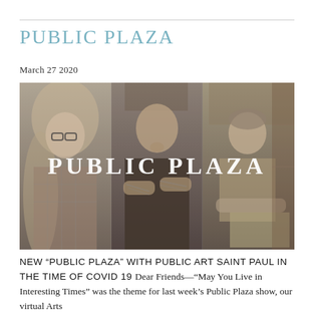PUBLIC PLAZA
March 27 2020
[Figure (photo): Black and white photograph of three people arranged side by side. On the left is a woman with long hair and glasses wearing a plaid shirt. In the center is a bald man with tattoos and arms crossed wearing a dark t-shirt. On the right is a man leaning forward in a casual jacket. The text 'PUBLIC PLAZA' is overlaid in large white bold letters across the center of the image.]
NEW “PUBLIC PLAZA” WITH PUBLIC ART SAINT PAUL IN THE TIME OF COVID 19 Dear Friends—“May You Live in Interesting Times” was the theme for last week’s Public Plaza show, our virtual Arts